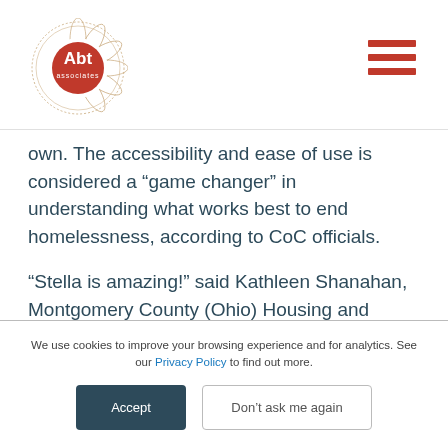Abt Associates logo and navigation menu
own. The accessibility and ease of use is considered a “game changer” in understanding what works best to end homelessness, according to CoC officials.
“Stella is amazing!” said Kathleen Shanahan, Montgomery County (Ohio) Housing and Homeless Solutions program coordinator. “[This] puts performance analysis at a CoC’s fingertips …
We use cookies to improve your browsing experience and for analytics. See our Privacy Policy to find out more.